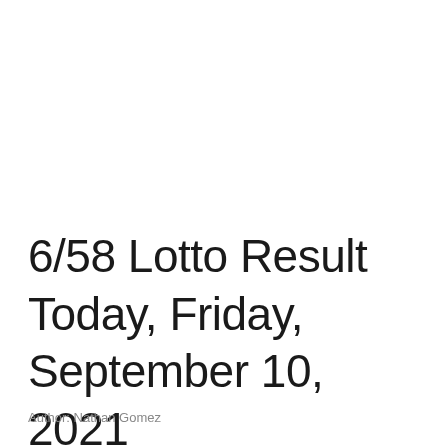6/58 Lotto Result Today, Friday, September 10, 2021
Author: Nathan Gomez